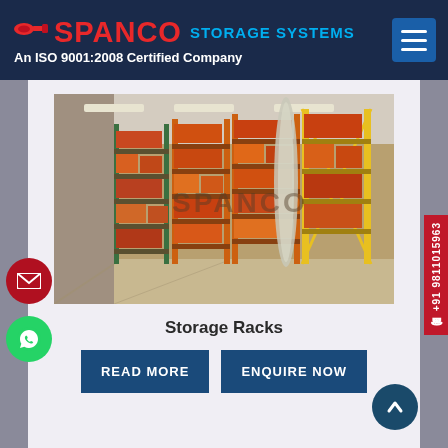SPANCO STORAGE SYSTEMS – An ISO 9001:2008 Certified Company
[Figure (photo): Warehouse interior showing tall metal storage racks filled with boxes and goods, with SPANCO watermark overlay]
Storage Racks
READ MORE
ENQUIRE NOW